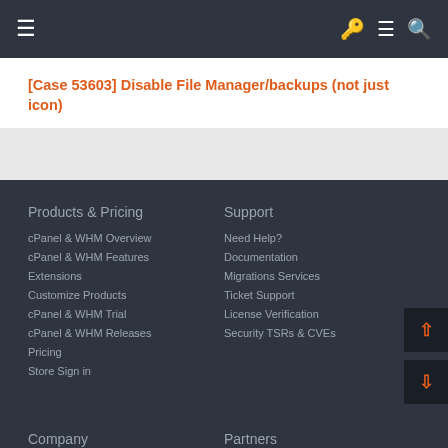☰  🔑 ☰ 🔍
[Case 53603] Disable File Manager/backups (not just icon)
Products & Pricing
cPanel & WHM Overview
cPanel & WHM Features
Extensions
Customize Products
cPanel & WHM Trial
cPanel & WHM Releases
Pricing
Store Sign in
Support
Need Help?
Documentation
Migrations Services
Ticket Support
License Verification
Security TSRs & CVEs
Company   Partners